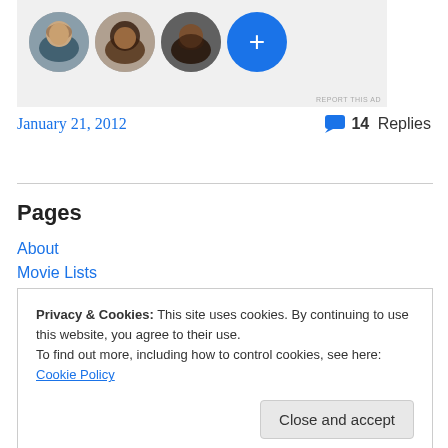[Figure (screenshot): Ad banner with four circular avatar photos and a blue plus button on a light gray background. Bottom right says REPORT THIS AD.]
January 21, 2012
14 Replies
Pages
About
Movie Lists
Privacy & Cookies: This site uses cookies. By continuing to use this website, you agree to their use.
To find out more, including how to control cookies, see here: Cookie Policy
Close and accept